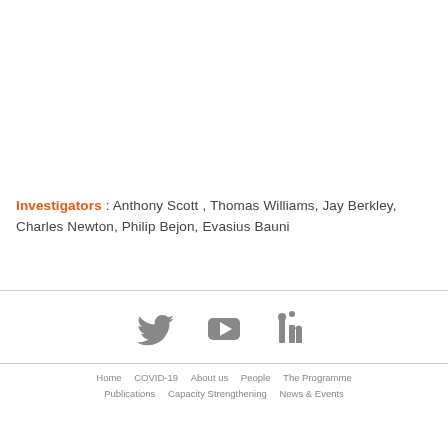Investigators : Anthony Scott , Thomas Williams, Jay Berkley, Charles Newton, Philip Bejon, Evasius Bauni
[Figure (other): Social media icons: Twitter bird icon, YouTube logo icon, LinkedIn icon, displayed in gray]
Home   COVID-19   About us   People   The Programme   Publications   Capacity Strengthening   News & Events   Designed and Developed by 42Works